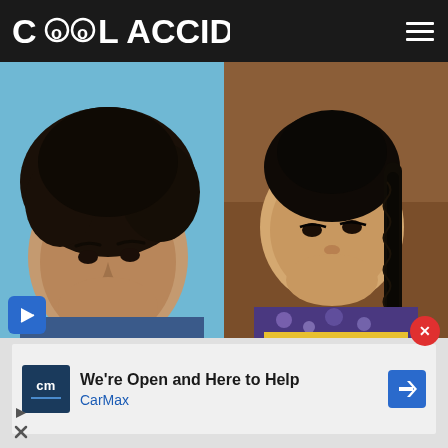Cool Accidents
[Figure (photo): Two portrait photos side by side: left shows a young man with dark curly hair against a blue sky background; right shows a young woman with dark braided hair against a warm brown background]
[Figure (logo): CarMax advertisement with CarMax logo, text 'We're Open and Here to Help' and 'CarMax', with a blue navigation arrow icon]
We're Open and Here to Help
CarMax